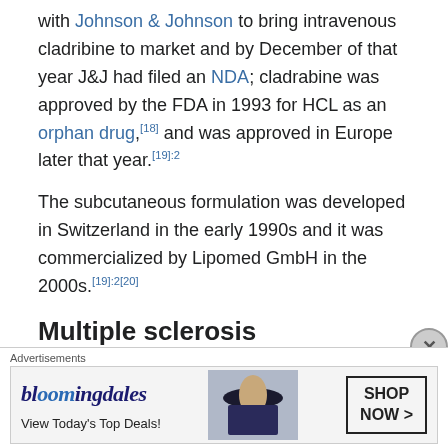with Johnson & Johnson to bring intravenous cladribine to market and by December of that year J&J had filed an NDA; cladrabine was approved by the FDA in 1993 for HCL as an orphan drug,[18] and was approved in Europe later that year.[19]:2
The subcutaneous formulation was developed in Switzerland in the early 1990s and it was commercialized by Lipomed GmbH in the 2000s.[19]:2[20]
Multiple sclerosis
In the mid-1990s Beutler, in collaboration with Jack Sipe, a
Advertisements
[Figure (other): Bloomingdale's advertisement: 'bloomingdales / View Today's Top Deals!' with SHOP NOW > button and woman wearing hat]